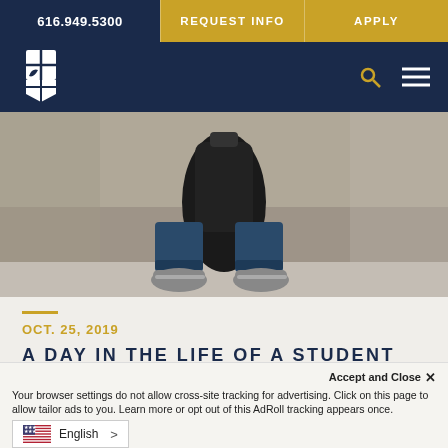616.949.5300 | REQUEST INFO | APPLY
[Figure (logo): College logo: white four-pane square with leaf/pen motif on navy background]
[Figure (photo): Photo of a student from behind, wearing jeans and sneakers, sitting with a large backpack beside a concrete ledge on a city sidewalk. Black and white/desaturated style.]
OCT. 25, 2019
A DAY IN THE LIFE OF A STUDENT
Accept and Close ✕
Your browser settings do not allow cross-site tracking for advertising. Click on this page to allow tailor ads to you. Learn more or opt out of this AdRoll tracking appears once.
English >